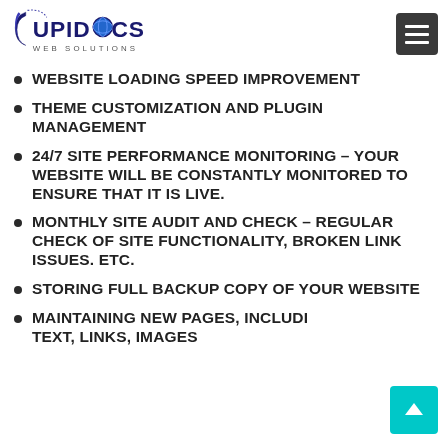JUPIDOCS WEB SOLUTIONS
WEBSITE LOADING SPEED IMPROVEMENT
THEME CUSTOMIZATION AND PLUGIN MANAGEMENT
24/7 SITE PERFORMANCE MONITORING – YOUR WEBSITE WILL BE CONSTANTLY MONITORED TO ENSURE THAT IT IS LIVE.
MONTHLY SITE AUDIT AND CHECK – REGULAR CHECK OF SITE FUNCTIONALITY, BROKEN LINK ISSUES. ETC.
STORING FULL BACKUP COPY OF YOUR WEBSITE
MAINTAINING NEW PAGES, INCLUDING TEXT, LINKS, IMAGES